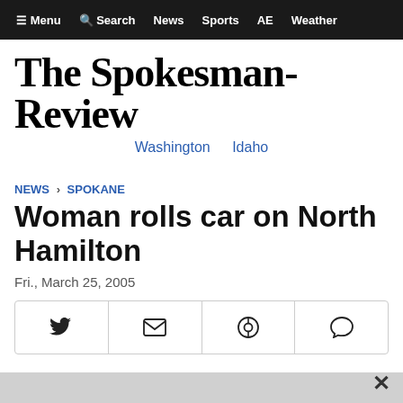≡ Menu   🔍 Search   News   Sports   AE   Weather
The Spokesman-Review
Washington   Idaho
NEWS > SPOKANE
Woman rolls car on North Hamilton
Fri., March 25, 2005
[Figure (other): Social share buttons: Twitter, Email, Reddit, Comment]
Compiled from staff and wire reports
The Spokesman-Review